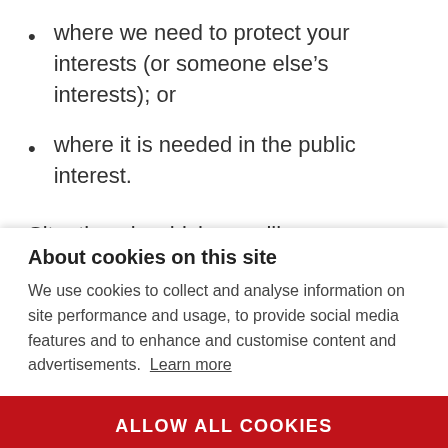where we need to protect your interests (or someone else's interests); or
where it is needed in the public interest.
Situations in which we will use your personal
About cookies on this site
We use cookies to collect and analyse information on site performance and usage, to provide social media features and to enhance and customise content and advertisements. Learn more
ALLOW ALL COOKIES
COOKIE SETTINGS